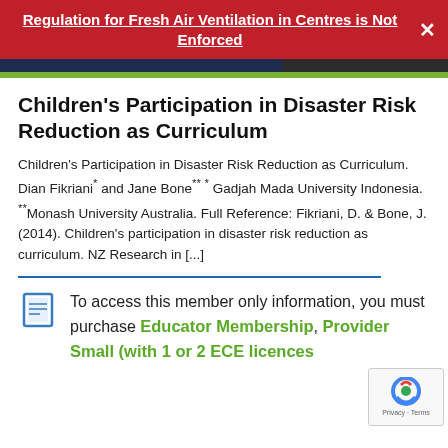Regulation for Fresh Air Ventilation in Centres is Not Enforced
Children's Participation in Disaster Risk Reduction as Curriculum
Children's Participation in Disaster Risk Reduction as Curriculum. Dian Fikriani* and Jane Bone** * Gadjah Mada University Indonesia. **Monash University Australia. Full Reference: Fikriani, D. & Bone, J. (2014). Children's participation in disaster risk reduction as curriculum. NZ Research in [...]
To access this member only information, you must purchase Educator Membership, Provider Small (with 1 or 2 ECE licences